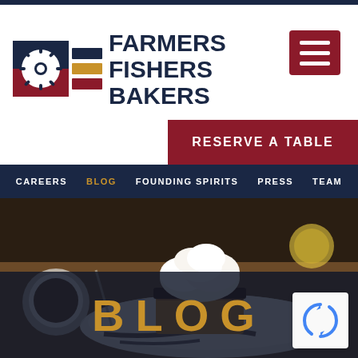[Figure (logo): Farmers Fishers Bakers restaurant logo with a circular sunburst icon, horizontal colored bars (navy, gold, red), and bold navy text reading FARMERS FISHERS BAKERS]
[Figure (other): Hamburger menu button — dark red square with three white horizontal lines]
RESERVE A TABLE
CAREERS   BLOG   FOUNDING SPIRITS   PRESS   TEAM
[Figure (photo): Close-up food photo of a dessert — a slice of cake or tart with whipped cream on top, chocolate sauce on a white plate, with a coffee cup visible in the background]
BLOG
[Figure (other): reCAPTCHA logo badge — white rounded square with the reCAPTCHA spinning arrow icon in blue]